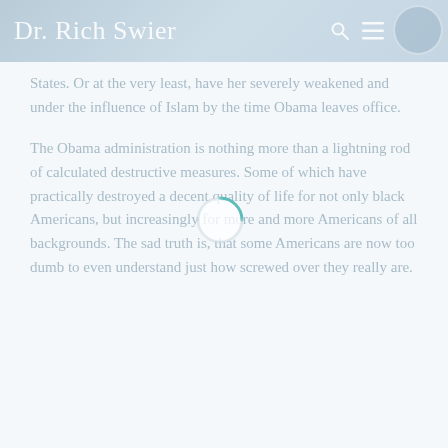Dr. Rich Swier
States.  Or at the very least, have her severely weakened and under the influence of Islam by the time Obama leaves office.
The Obama administration is nothing more than a lightning rod of calculated destructive measures.  Some of which have practically destroyed a decent quality of life for not only black Americans, but increasingly for more and more Americans of all backgrounds.  The sad truth is, that some Americans are now too dumb to even understand just how screwed over they really are.